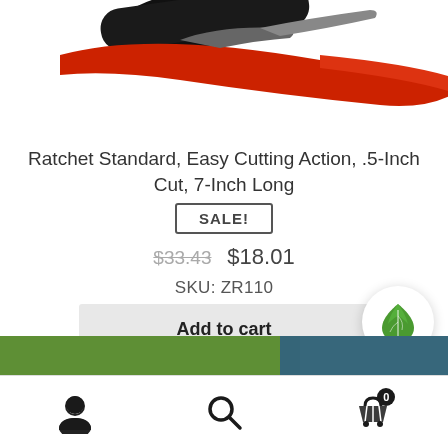[Figure (photo): Top portion of red and black pruning shears/secateurs on white background]
Ratchet Standard, Easy Cutting Action, .5-Inch Cut, 7-Inch Long
SALE!
$33.43  $18.01
SKU: ZR110
Add to cart
[Figure (logo): Green leaf circular icon/logo]
[Figure (photo): Bottom strip showing partial image of outdoor garden scene]
User icon | Search icon | Cart icon with badge 0